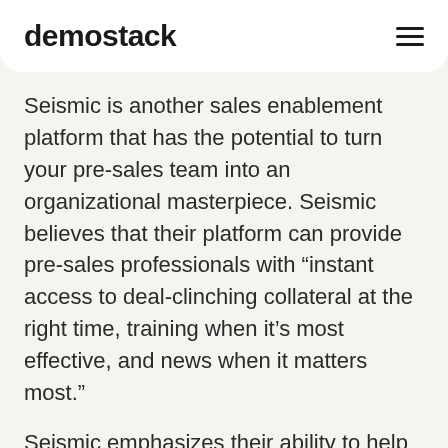demostack
Seismic is another sales enablement platform that has the potential to turn your pre-sales team into an organizational masterpiece. Seismic believes that their platform can provide pre-sales professionals with “instant access to deal-clinching collateral at the right time, training when it’s most effective, and news when it matters most.”
Seismic emphasizes their ability to help you achieve four particular goals: customizing buyer experiences, streamlined selling processes, automated content management, and content analytics. Like Highspot, Seismic combines